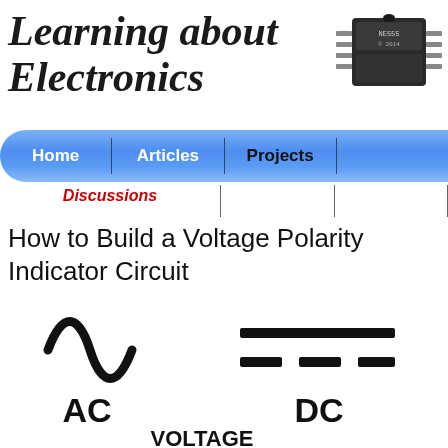Learning about Electronics
[Figure (photo): DIP IC chip photograph, top view showing black rectangular package with metal pins]
Home | Articles | Projects | Discussions
How to Build a Voltage Polarity Indicator Circuit
[Figure (illustration): AC and DC voltage symbols side by side. AC shown as a sine wave, DC shown as solid line over dashed line. Labeled AC VOLTAGE and DC VOLTAGE.]